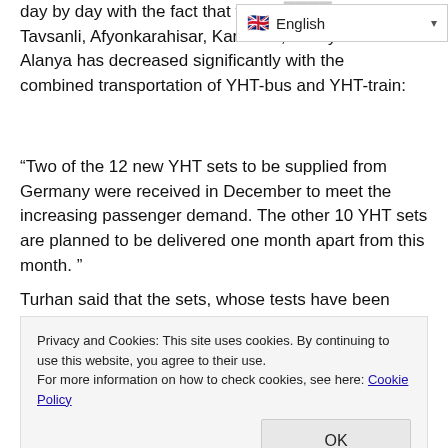day by day with the fact that the tra…a, Tavsanli, Afyonkarahisar, Karaman, Antalya and Alanya has decreased significantly with the combined transportation of YHT-bus and YHT-train:
“Two of the 12 new YHT sets to be supplied from Germany were received in December to meet the increasing passenger demand. The other 10 YHT sets are planned to be delivered one month apart from this month.”
Turhan said that the sets, whose tests have been completed, will be taken into operation as of February 1, “As a result, both the number of flights and passenger capacity of YHTs will i…
Privacy and Cookies: This site uses cookies. By continuing to use this website, you agree to their use.
For more information on how to check cookies, see here: Cookie Policy
OK
thousand passengers in